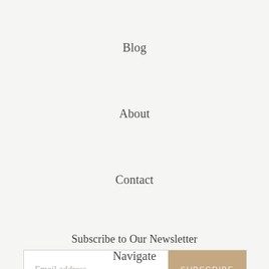Blog
About
Contact
Subscribe to Our Newsletter
Email address  SUBSCRIBE
Navigate